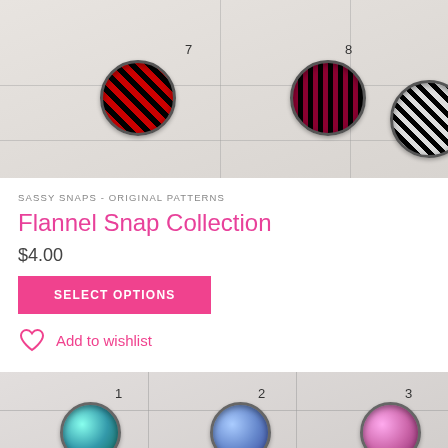[Figure (photo): Close-up photo of three decorative snap buttons on a white gridded surface, labeled 7, 8, and 9. Button 7 has red and black buffalo plaid pattern, button 8 has dark red and black plaid pattern, button 9 has black and white gingham pattern.]
SASSY SNAPS - ORIGINAL PATTERNS
Flannel Snap Collection
$4.00
SELECT OPTIONS
Add to wishlist
[Figure (photo): Partial view of another set of snap buttons on a white gridded surface, labeled 1, 2, and 3 with colorful iridescent/holographic snap buttons visible at the bottom.]